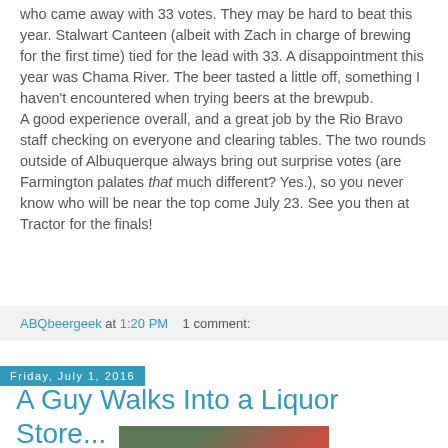who came away with 33 votes. They may be hard to beat this year. Stalwart Canteen (albeit with Zach in charge of brewing for the first time) tied for the lead with 33. A disappointment this year was Chama River. The beer tasted a little off, something I haven't encountered when trying beers at the brewpub. A good experience overall, and a great job by the Rio Bravo staff checking on everyone and clearing tables. The two rounds outside of Albuquerque always bring out surprise votes (are Farmington palates that much different? Yes.), so you never know who will be near the top come July 23. See you then at Tractor for the finals!
ABQbeergeek at 1:20 PM   1 comment:
Friday, July 1, 2016
A Guy Walks Into a Liquor Store...
[Figure (photo): Photo of a store shelf or display with green and orange/red objects, partially cropped]